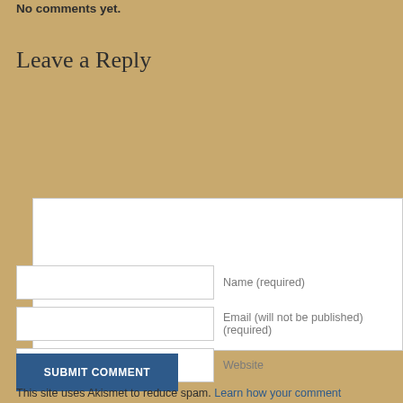No comments yet.
Leave a Reply
[Comment text area]
Name (required)
Email (will not be published) (required)
Website
SUBMIT COMMENT
This site uses Akismet to reduce spam. Learn how your comment